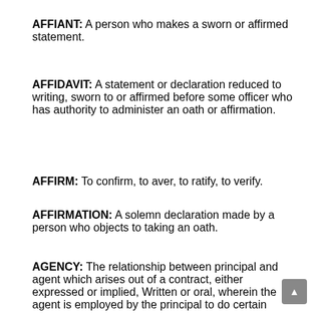AFFIANT: A person who makes a sworn or affirmed statement.
AFFIDAVIT: A statement or declaration reduced to writing, sworn to or affirmed before some officer who has authority to administer an oath or affirmation.
AFFIRM: To confirm, to aver, to ratify, to verify.
AFFIRMATION: A solemn declaration made by a person who objects to taking an oath.
AGENCY: The relationship between principal and agent which arises out of a contract, either expressed or implied, Written or oral, wherein the agent is employed by the principal to do certain